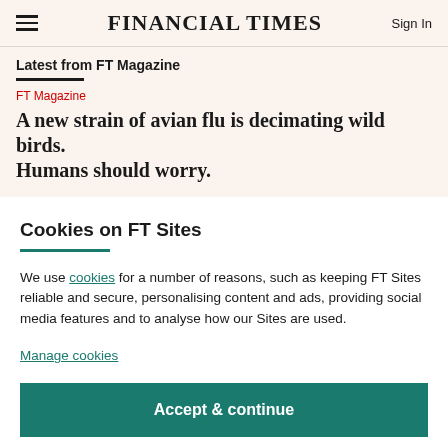FINANCIAL TIMES | Sign In
Latest from FT Magazine
FT Magazine
A new strain of avian flu is decimating wild birds. Humans should worry.
Cookies on FT Sites
We use cookies for a number of reasons, such as keeping FT Sites reliable and secure, personalising content and ads, providing social media features and to analyse how our Sites are used.
Manage cookies
Accept & continue